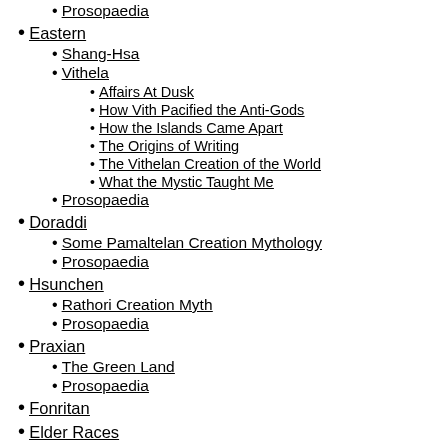Prosopaedia
Eastern
Shang-Hsa
Vithela
Affairs At Dusk
How Vith Pacified the Anti-Gods
How the Islands Came Apart
The Origins of Writing
The Vithelan Creation of the World
What the Mystic Taught Me
Prosopaedia
Doraddi
Some Pamaltelan Creation Mythology
Prosopaedia
Hsunchen
Rathori Creation Myth
Prosopaedia
Praxian
The Green Land
Prosopaedia
Fonritan
Elder Races